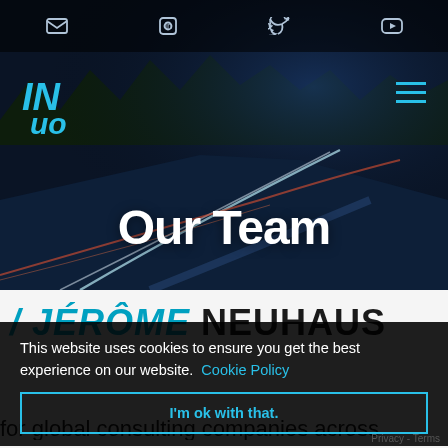Navigation bar with email, LinkedIn, Twitter, YouTube icons
[Figure (screenshot): Hero image of a wintry road at night with light trails, dark blue tones. Contains INUO logo top left, hamburger menu top right, and 'Our Team' heading centered.]
Our Team
JÉRÔME NEUHAUS
This website uses cookies to ensure you get the best experience on our website. Cookie Policy
I'm ok with that.
for global consulting companies across
Privacy - Terms